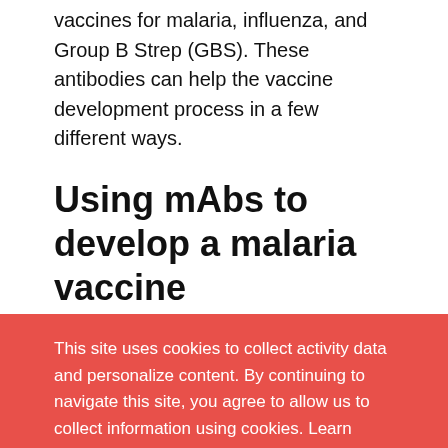vaccines for malaria, influenza, and Group B Strep (GBS). These antibodies can help the vaccine development process in a few different ways.
Using mAbs to develop a malaria vaccine
This site uses cookies to collect activity data and personalize content. By continuing to navigate this site, you agree to allow us to collect information using cookies. Learn more about how we care for your data in our privacy notice.